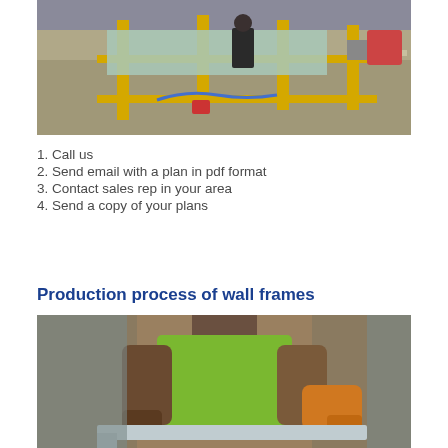[Figure (photo): Industrial manufacturing facility showing workers and yellow metal frame assembly equipment on a large production floor]
1. Call us
2. Send email with a plan in pdf format
3. Contact sales rep in your area
4. Send a copy of your plans
Production process of wall frames
[Figure (photo): Worker in green high-visibility vest using a nail gun or power tool on a wall frame assembly]